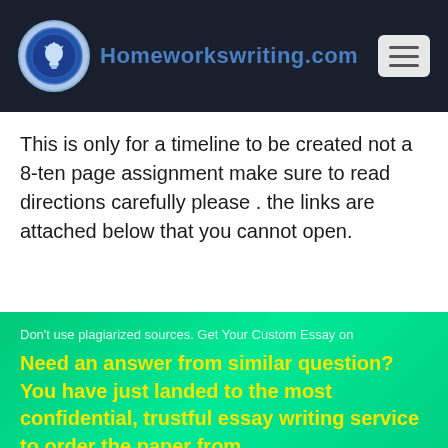Homeworkswriting.com
This is only for a timeline to be created not a 8-ten page assignment make sure to read directions carefully please . the links are attached below that you cannot open.
Don't use plagiarized sources. Get Your Custom Essay on
Need an answer from similar question? You have just landed to the most confidential, trustful essay writing service to order the paper from.